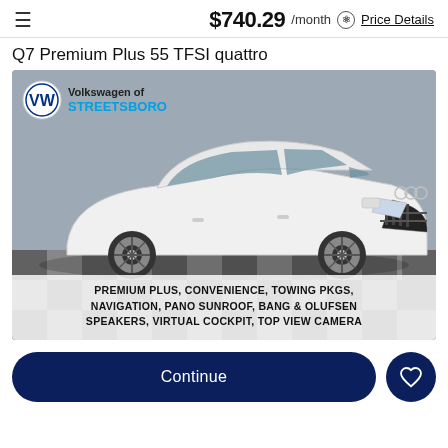$740.29 /month  Price Details
Q7 Premium Plus 55 TFSI quattro
[Figure (photo): White Audi Q7 Premium Plus 55 TFSI quattro SUV shown at a Volkswagen of Streetsboro dealership on a checkered floor. Text overlay at bottom reads: PREMIUM PLUS, CONVENIENCE, TOWING PKGS, NAVIGATION, PANO SUNROOF, BANG & OLUFSEN SPEAKERS, VIRTUAL COCKPIT, TOP VIEW CAMERA.]
Continue